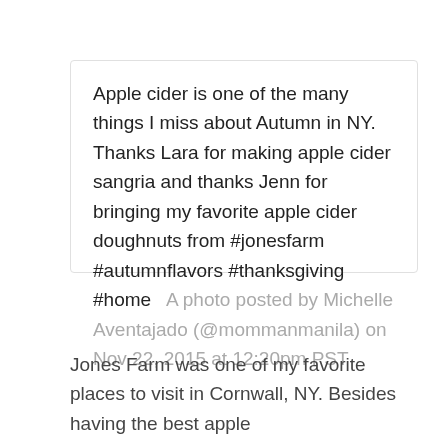Apple cider is one of the many things I miss about Autumn in NY. Thanks Lara for making apple cider sangria and thanks Jenn for bringing my favorite apple cider doughnuts from #jonesfarm #autumnflavors #thanksgiving #home   A photo posted by Michelle Aventajado (@mommanmanila) on Nov 22, 2015 at 12:20pm PST
Jones Farm was one of my favorite places to visit in Cornwall, NY. Besides having the best apple